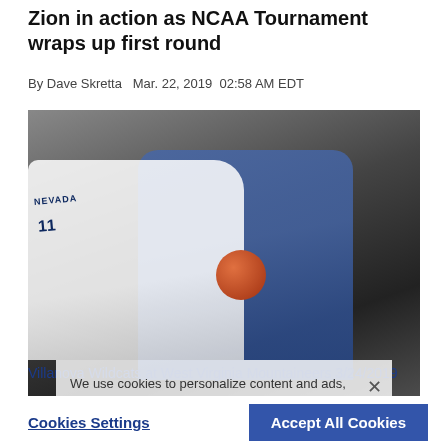Zion in action as NCAA Tournament wraps up first round
By Dave Skretta  Mar. 22, 2019  02:58 AM EDT
[Figure (photo): Basketball game photo: two players, one in white Nevada jersey number 11, one in blue jersey, contesting for the ball]
We use cookies to personalize content and ads, to provide social media features and to analyze our traffic. We also share information about your use of our site with our social media, advertising and analytics partners. Privacy Policy
Villanova Wildcats at West Virginia Mountaineers 3/24/2019
Mar. 21, 2019 09:21 PM EDT
Cookies Settings    Accept All Cookies